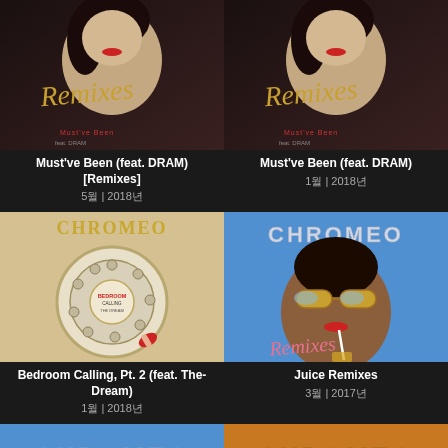[Figure (illustration): Album art for Must've Been (feat. DRAM) [Remixes] - woman's face with cursive Remixes text]
Must've Been (feat. DRAM) [Remixes]
5월 | 2018년
[Figure (illustration): Album art for Must've Been (feat. DRAM) - same woman's face with cursive Remixes text]
Must've Been (feat. DRAM)
1월 | 2018년
[Figure (illustration): Album art for Bedroom Calling Pt. 2 feat. The-Dream - Chromeo rotary telephone dial with red fingernail]
Bedroom Calling, Pt. 2 (feat. The-Dream)
1월 | 2018년
[Figure (illustration): Album art for Juice Remixes - Chromeo logo with woman in sunglasses drinking through straw]
Juice Remixes
3월 | 2017년
[Figure (illustration): Partial album art - Chromeo logo on blue sky background]
[Figure (illustration): Partial album art - Chromeo logo on orange/warm background]